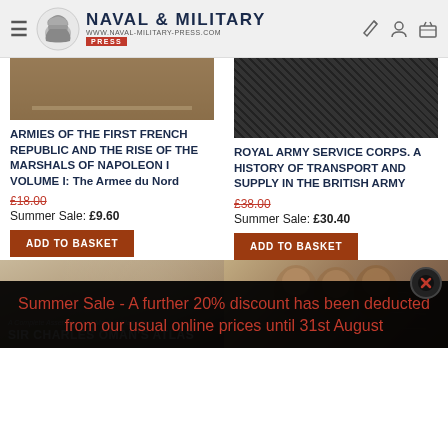Naval & Military Press — www.naval-military-press.com
ARMIES OF THE FIRST FRENCH REPUBLIC AND THE RISE OF THE MARSHALS OF NAPOLEON I VOLUME I: The Armee du Nord
£18.00
Summer Sale: £9.60
ADD TO BASKET
ROYAL ARMY SERVICE CORPS. A HISTORY OF TRANSPORT AND SUPPLY IN THE BRITISH ARMY
£38.00
Summer Sale: £30.40
ADD TO BASKET
[Figure (screenshot): Bottom of book cover for Sir Charles Oman's Atlas]
[Figure (photo): Historical figures/portraits on a map background]
Summer Sale - A further 20% discount has been deducted from our usual online prices until 31st August